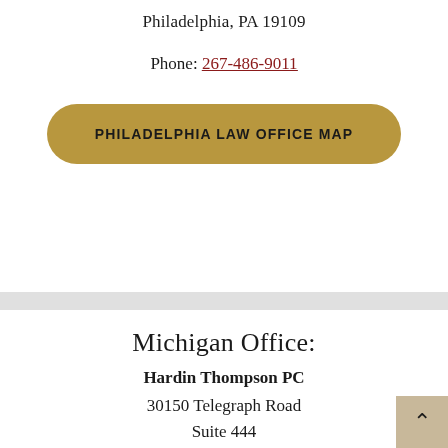Philadelphia, PA 19109
Phone: 267-486-9011
PHILADELPHIA LAW OFFICE MAP
Michigan Office:
Hardin Thompson PC
30150 Telegraph Road
Suite 444
Bingham Farms, MI 48025